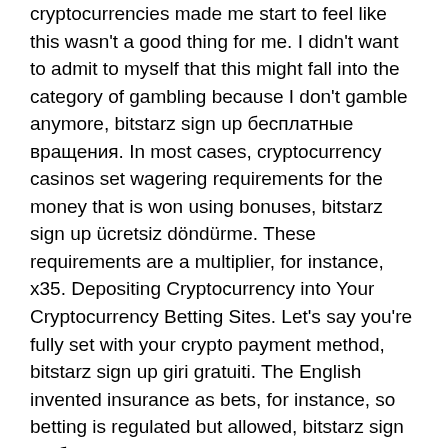cryptocurrencies made me start to feel like this wasn't a good thing for me. I didn't want to admit to myself that this might fall into the category of gambling because I don't gamble anymore, bitstarz sign up бесплатные вращения. In most cases, cryptocurrency casinos set wagering requirements for the money that is won using bonuses, bitstarz sign up ücretsiz döndürme. These requirements are a multiplier, for instance, x35. Depositing Cryptocurrency into Your Cryptocurrency Betting Sites. Let's say you're fully set with your crypto payment method, bitstarz sign up giri gratuiti. The English invented insurance as bets, for instance, so betting is regulated but allowed, bitstarz sign up бесплатные вращения. There is the UK Gambling Commission which supervises the industry.
Bitstarz28 casino, bitstarz promotional code